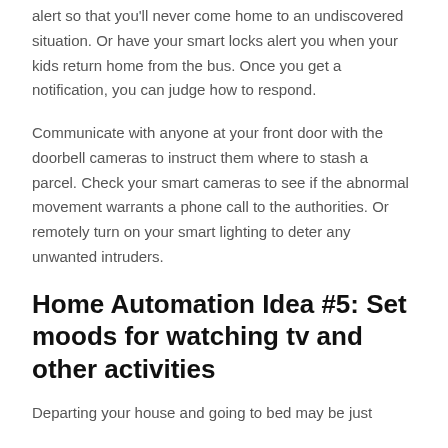alert so that you'll never come home to an undiscovered situation. Or have your smart locks alert you when your kids return home from the bus. Once you get a notification, you can judge how to respond.
Communicate with anyone at your front door with the doorbell cameras to instruct them where to stash a parcel. Check your smart cameras to see if the abnormal movement warrants a phone call to the authorities. Or remotely turn on your smart lighting to deter any unwanted intruders.
Home Automation Idea #5: Set moods for watching tv and other activities
Departing your house and going to bed may be just